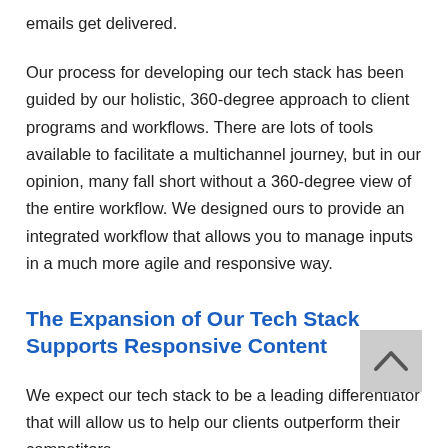emails get delivered.
Our process for developing our tech stack has been guided by our holistic, 360-degree approach to client programs and workflows. There are lots of tools available to facilitate a multichannel journey, but in our opinion, many fall short without a 360-degree view of the entire workflow. We designed ours to provide an integrated workflow that allows you to manage inputs in a much more agile and responsive way.
The Expansion of Our Tech Stack Supports Responsive Content
We expect our tech stack to be a leading differentiator that will allow us to help our clients outperform their competitors